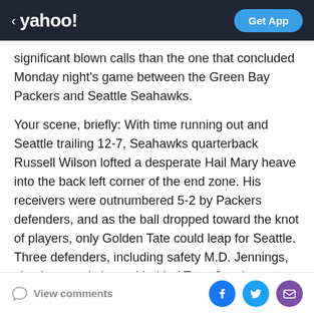< yahoo! | Get App
significant blown calls than the one that concluded Monday night's game between the Green Bay Packers and Seattle Seahawks.
Your scene, briefly: With time running out and Seattle trailing 12-7, Seahawks quarterback Russell Wilson lofted a desperate Hail Mary heave into the back left corner of the end zone. His receivers were outnumbered 5-2 by Packers defenders, and as the ball dropped toward the knot of players, only Golden Tate could leap for Seattle. Three defenders, including safety M.D. Jennings, simultaneously leaped behind Tate. Jennings appeared to grab the ball first, and as he fell to the turf, Tate shoved
View comments